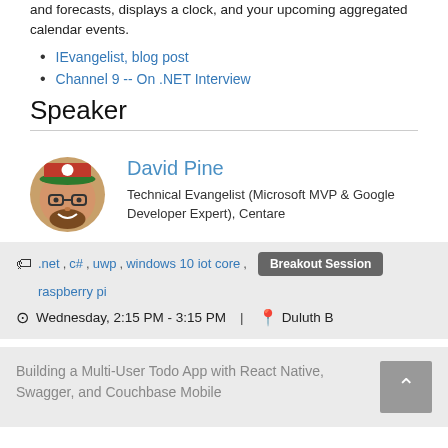and forecasts, displays a clock, and your upcoming aggregated calendar events.
IEvangelist, blog post
Channel 9 -- On .NET Interview
Speaker
[Figure (illustration): Cartoon avatar of David Pine wearing a red cap and glasses with a beard]
David Pine
Technical Evangelist (Microsoft MVP & Google Developer Expert), Centare
.net, c#, uwp, windows 10 iot core, raspberry pi — Breakout Session
Wednesday, 2:15 PM - 3:15 PM | Duluth B
Building a Multi-User Todo App with React Native, Swagger, and Couchbase Mobile